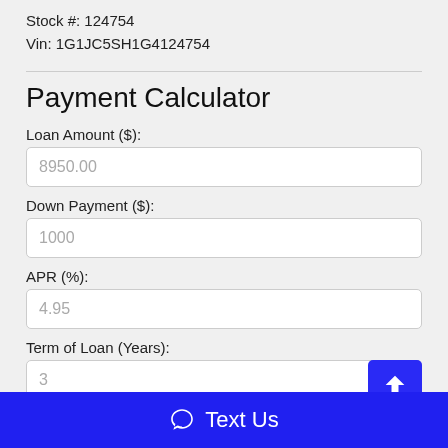Stock #: 124754
Vin: 1G1JC5SH1G4124754
Payment Calculator
Loan Amount ($):
8950.00
Down Payment ($):
1000
APR (%):
4.95
Term of Loan (Years):
3
Monthly Payment:
Text Us